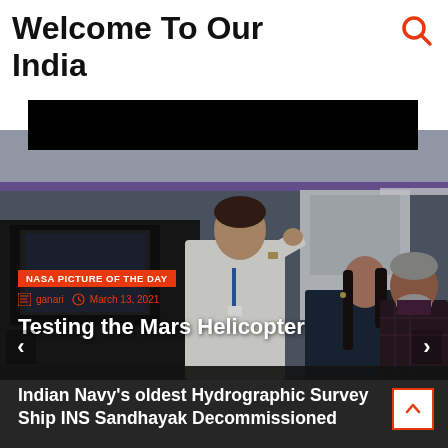Welcome To Our India
[Figure (photo): Search icon (magnifying glass) in orange, top right corner]
[Figure (photo): Hero photo: Three people in a laboratory/tech workspace — a man in a white lab coat pointing at a monitor, a woman in a dark jacket looking on, and an older man with a beard on the right. The background shows lab equipment and shelving.]
NASA PICTURE OF THE DAY
ganari   March 13, 2021
Testing the Mars Helicopter
Indian Navy's oldest Hydrographic Survey Ship INS Sandhayak Decommissioned